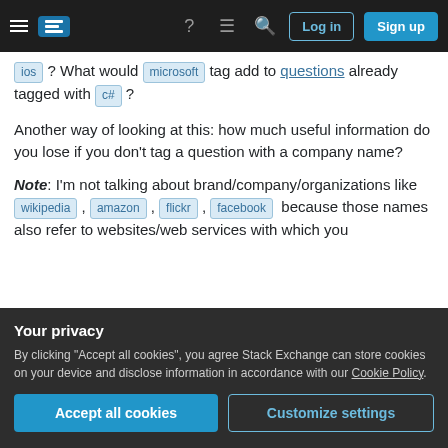[nav bar with logo, hamburger menu, help icon, chat icon, search icon, Log in button, Sign up button]
ios ? What would microsoft tag add to questions already tagged with c# ?
Another way of looking at this: how much useful information do you lose if you don't tag a question with a company name?
Note: I'm not talking about brand/company/organizations like wikipedia , amazon , flickr , facebook because those names also refer to websites/web services with which you can interact at Stack from which...
Your privacy
By clicking "Accept all cookies", you agree Stack Exchange can store cookies on your device and disclose information in accordance with our Cookie Policy.
be expressed as such